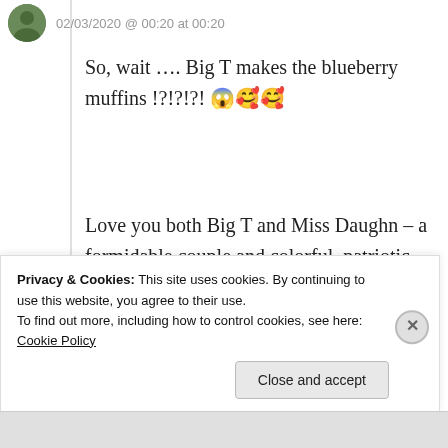02/03/2020 @ 00:20 at 00:20
So, wait …. Big T makes the blueberry muffins !?!?!?! 😱🥰🥰
Love you both Big T and Miss Daughn – a formidable couple and colorful, patriotic individual lives well-lived 🇺🇸🇺🇸🇺🇸 The American Dream
★ Like
Privacy & Cookies: This site uses cookies. By continuing to use this website, you agree to their use.
To find out more, including how to control cookies, see here: Cookie Policy
Close and accept